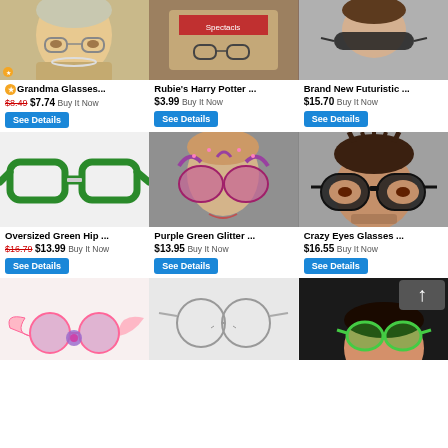[Figure (screenshot): eBay product grid listing novelty glasses. Row 1: Grandma Glasses (old woman wearing pearl necklace), Rubie's Harry Potter glasses, Brand New Futuristic glasses. Row 2: Oversized Green Hip glasses (product photo), Purple Green Glitter glasses (on mannequin head), Crazy Eyes Glasses (man wearing large novelty glasses). Row 3 (partial): pink wing glasses, round wire glasses, green alien glasses worn by person.]
Grandma Glasses...
$8.49 $7.74 Buy It Now
Rubie's Harry Potter ...
$3.99 Buy It Now
Brand New Futuristic ...
$15.70 Buy It Now
Oversized Green Hip ...
$16.79 $13.99 Buy It Now
Purple Green Glitter ...
$13.95 Buy It Now
Crazy Eyes Glasses ...
$16.55 Buy It Now